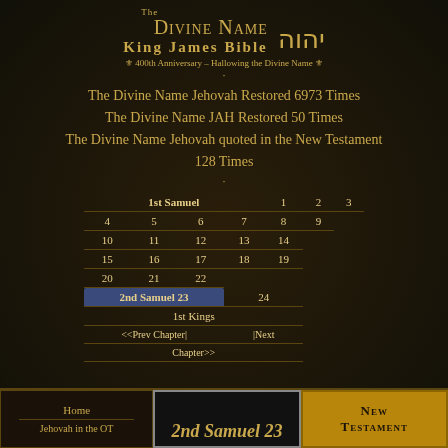The Divine Name King James Bible — יהוה
400th Anniversary – Hallowing the Divine Name
The Divine Name Jehovah Restored 6973 Times
The Divine Name JAH Restored 50 Times
The Divine Name Jehovah quoted in the New Testament 128 Times
| 1st Samuel | 1 | 2 | 3 |
| 4 | 5 | 6 | 7 | 8 | 9 |
| 10 | 11 | 12 | 13 | 14 |
| 15 | 16 | 17 | 18 | 19 |
| 20 | 21 | 22 |
| 2nd Samuel 23 | 24 |
| 1st Kings |
| <<Prev Chapter| | |Next Chapter>> |
Home
Jehovah in the OT
[Figure (illustration): 2nd Samuel 23 book cover image]
[Figure (illustration): New Testament golden banner]